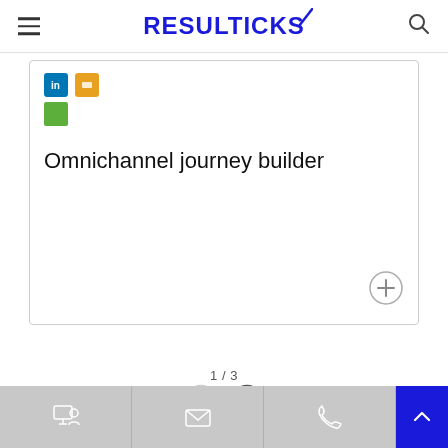RESULTICKS
[Figure (screenshot): Card showing social media icons (LinkedIn blue, SlideShare orange, Google green) and title 'Omnichannel journey builder' with a plus button]
1 / 3
[Figure (other): Navigation arrows: left (inactive) and right (active, circled)]
Frequently asked questions
Bottom navigation bar with monitor/person icon, email icon, phone icon, and back-to-top button